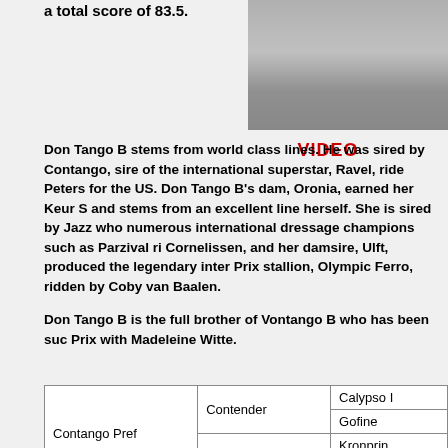a total score of 83.5.
[Figure (photo): Photo of horse legs during dressage performance]
VIDEO
Don Tango B stems from world class lines. He was sired by Contango, sire of the international superstar, Ravel, ridden by Steffen Peters for the US. Don Tango B's dam, Oronia, earned her Keur S status and stems from an excellent line herself. She is sired by Jazz who produced numerous international dressage champions such as Parzival ridden by Adelinde Cornelissen, and her damsire, Ulft, produced the legendary international Grand Prix stallion, Olympic Ferro, ridden by Coby van Baalen.
Don Tango B is the full brother of Vontango B who has been successful at Grand Prix with Madeleine Witte.
|  |  |  |
| --- | --- | --- |
| Contango Pref | Contender | Calypso II |
|  |  | Gofine |
|  | Adisa III | Kronprinz |
|  |  | Adisa |